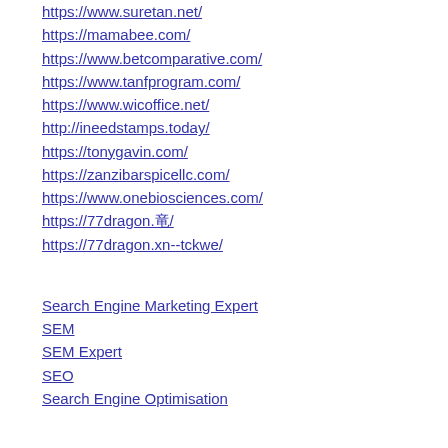https://www.suretan.net/
https://mamabee.com/
https://www.betcomparative.com/
https://www.tanfprogram.com/
https://www.wicoffice.net/
http://ineedstamps.today/
https://tonygavin.com/
https://zanzibarspicellc.com/
https://www.onebiosciences.com/
https://77dragon.竜/
https://77dragon.xn--tckwe/
Search Engine Marketing Expert
SEM
SEM Expert
SEO
Search Engine Optimisation